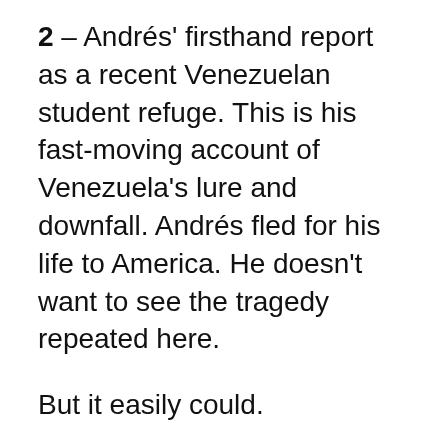2 – Andrés' firsthand report as a recent Venezuelan student refuge. This is his fast-moving account of Venezuela's lure and downfall. Andrés fled for his life to America. He doesn't want to see the tragedy repeated here.
But it easily could.
Before the COVID-19 pandemic, Andrés and fellow Venezuelan refugee Jorge Galicia had been touring American university